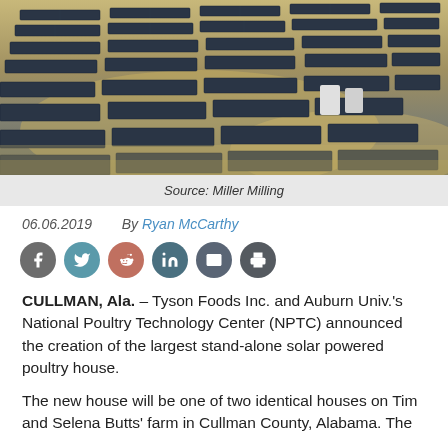[Figure (photo): Aerial view of solar panel arrays on a farm, rows of solar panels on sandy/dry ground]
Source: Miller Milling
06.06.2019   By Ryan McCarthy
[Figure (infographic): Social media sharing icons: Facebook, Twitter, Reddit, LinkedIn, Email, Print]
CULLMAN, Ala. – Tyson Foods Inc. and Auburn Univ.'s National Poultry Technology Center (NPTC) announced the creation of the largest stand-alone solar powered poultry house.
The new house will be one of two identical houses on Tim and Selena Butts' farm in Cullman County, Alabama. The